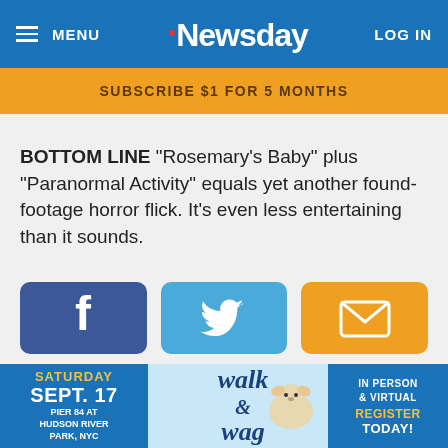MENU | Newsday | LOG IN
SUBSCRIBE $1 FOR 5 MONTHS
BOTTOM LINE "Rosemary's Baby" plus "Paranormal Activity" equals yet another found-footage horror flick. It's even less entertaining than it sounds.
[Figure (infographic): Three social sharing buttons: Facebook (dark blue with f icon), Twitter (light blue with bird icon), Email (orange with envelope icon)]
MORE ENTERTAINMENT
[Figure (infographic): Advertisement banner: Walk & Wag event. Saturday Sept. 17, Pier 84 at Hudson River Park, NYC. In Person & Virtual Register Today!]